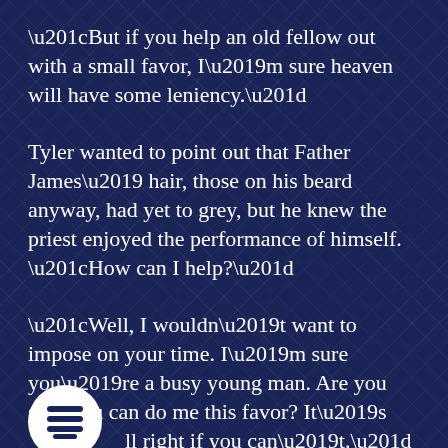“But if you help an old fellow out with a small favor, I’m sure heaven will have some leniency.”
Tyler wanted to point out that Father James’ hair, those on his beard anyway, had yet to grey, but he knew the priest enjoyed the performance of himself. “How can I help?”
“Well, I wouldn’t want to impose on your time. I’m sure you’re a busy young man. Are you sure you can do me this favor? It’s all right if you can’t.”
[Figure (logo): Round white circle with blue stacked books/lines logo icon]
Tyler looked at his succulents and empty